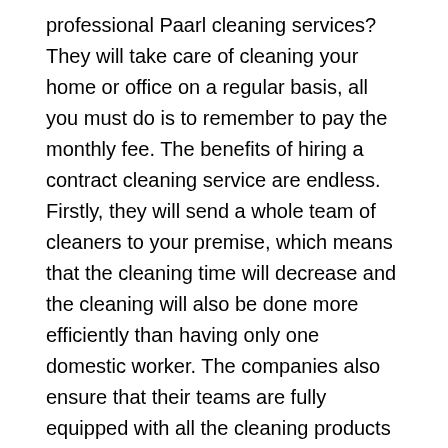professional Paarl cleaning services? They will take care of cleaning your home or office on a regular basis, all you must do is to remember to pay the monthly fee. The benefits of hiring a contract cleaning service are endless. Firstly, they will send a whole team of cleaners to your premise, which means that the cleaning time will decrease and the cleaning will also be done more efficiently than having only one domestic worker. The companies also ensure that their teams are fully equipped with all the cleaning products and equipment they need to clean every corner of your home or office. Some clients might be worried about their personal belongings. You should not be. These companies make sure to only employ trustworthy workers and the teams are also supervised when cleaning, therefore you can expect an efficient and full reliable cleaning service. The local Paarl cleaning services will save you time, effort, and even money in the end, seeing that you do not have to buy your own